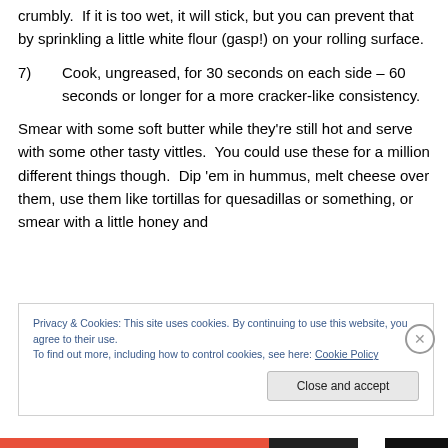crumbly. If it is too wet, it will stick, but you can prevent that by sprinkling a little white flour (gasp!) on your rolling surface.
7) Cook, ungreased, for 30 seconds on each side – 60 seconds or longer for a more cracker-like consistency.
Smear with some soft butter while they're still hot and serve with some other tasty vittles. You could use these for a million different things though. Dip 'em in hummus, melt cheese over them, use them like tortillas for quesadillas or something, or smear with a little honey and
Privacy & Cookies: This site uses cookies. By continuing to use this website, you agree to their use.
To find out more, including how to control cookies, see here: Cookie Policy